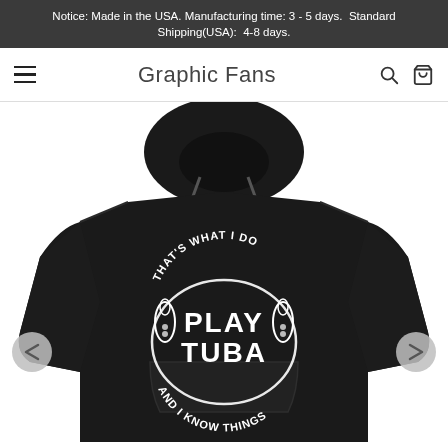Notice: Made in the USA. Manufacturing time: 3 - 5 days.  Standard Shipping(USA):  4-8 days.
Graphic Fans
[Figure (photo): Black hoodie sweatshirt with white graphic text reading 'THAT'S WHAT I DO PLAY TUBA AND I KNOW THINGS' with tuba illustrations, displayed on a product page of Graphic Fans store. Navigation arrows visible on left and right sides.]